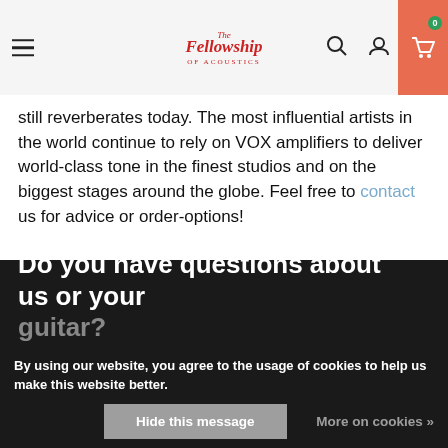The Fellowship of Acoustics — navigation header with hamburger menu, logo, search, account, and cart icons
still reverberates today. The most influential artists in the world continue to rely on VOX amplifiers to deliver world-class tone in the finest studios and on the biggest stages around the globe. Feel free to contact us for advice or order-options!
Do you have questions about us or your guitar?
By using our website, you agree to the usage of cookies to help us make this website better.
Hide this message   More on cookies »